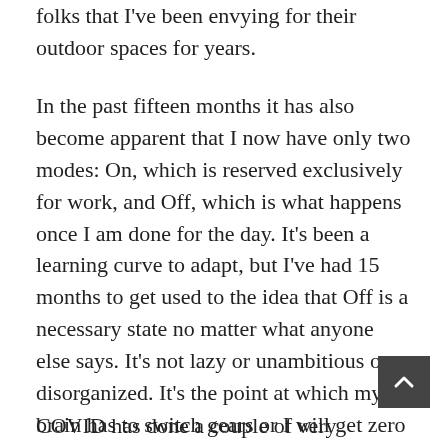folks that I've been envying for their outdoor spaces for years.
In the past fifteen months it has also become apparent that I now have only two modes: On, which is reserved exclusively for work, and Off, which is what happens once I am done for the day. It's been a learning curve to adapt, but I've had 15 months to get used to the idea that Off is a necessary state no matter what anyone else says. It's not lazy or unambitious or disorganized. It's the point at which my brain has to switch gears or I will get zero rest and speed myself right into the hell that is BURNOUT. It's hard on relationships but critically important for survival as a therapist and as a human.
COVID has done a couple of very important things for